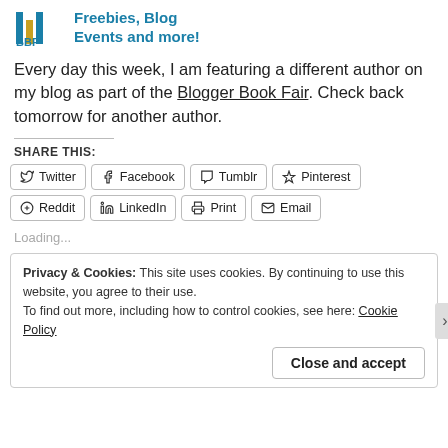[Figure (logo): BBF logo with colored bars and text 'Freebies, Blog Events and more!']
Every day this week, I am featuring a different author on my blog as part of the Blogger Book Fair. Check back tomorrow for another author.
SHARE THIS:
Twitter Facebook Tumblr Pinterest Reddit LinkedIn Print Email
Loading...
Privacy & Cookies: This site uses cookies. By continuing to use this website, you agree to their use. To find out more, including how to control cookies, see here: Cookie Policy
Close and accept